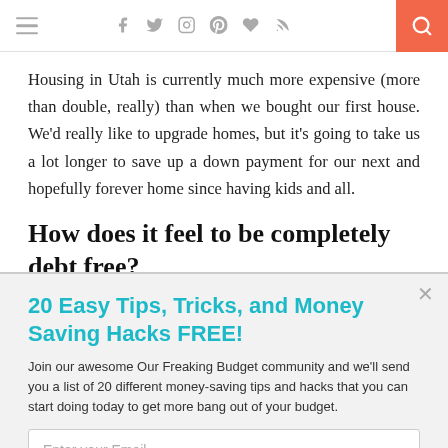[hamburger menu] [social icons: facebook, twitter, instagram, pinterest, heart, rss] [search button]
Housing in Utah is currently much more expensive (more than double, really) than when we bought our first house. We'd really like to upgrade homes, but it's going to take us a lot longer to save up a down payment for our next and hopefully forever home since having kids and all.
How does it feel to be completely debt free?
20 Easy Tips, Tricks, and Money Saving Hacks FREE!
Join our awesome Our Freaking Budget community and we'll send you a list of 20 different money-saving tips and hacks that you can start doing today to get more bang out of your budget.
Enter your Email
Sign Me Up!